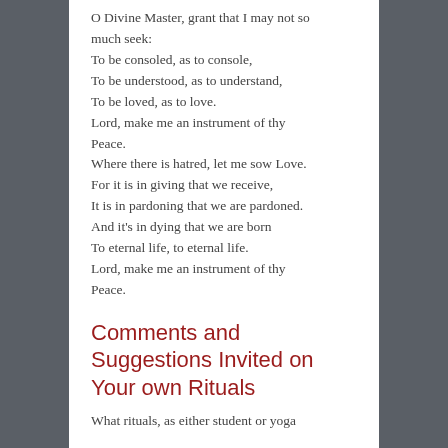O Divine Master, grant that I may not so much seek:
To be consoled, as to console,
To be understood, as to understand,
To be loved, as to love.
Lord, make me an instrument of thy Peace.
Where there is hatred, let me sow Love.
For it is in giving that we receive,
It is in pardoning that we are pardoned.
And it's in dying that we are born
To eternal life, to eternal life.
Lord, make me an instrument of thy Peace.
Comments and Suggestions Invited on Your own Rituals
What rituals, as either student or yoga